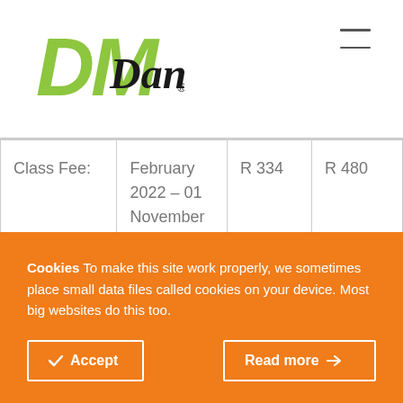DM Dance logo and navigation
|  |  |  |  |
| --- | --- | --- | --- |
| Class Fee: | February 2022 – 01 November 2022 | R 334 | R 480 |
|  |  |  |  |
Cookies To make this site work properly, we sometimes place small data files called cookies on your device. Most big websites do this too.
Accept
Read more →